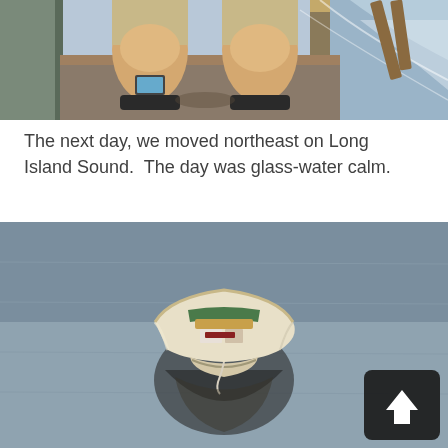[Figure (photo): Cropped photo showing a person's legs in khaki shorts sitting in a boat on the water, with wooden oar handles visible]
The next day, we moved northeast on Long Island Sound.  The day was glass-water calm.
[Figure (photo): A small white rowboat with items inside floating on very calm, glassy water, with its reflection visible below. A dark share-button overlay appears in the bottom-right corner.]